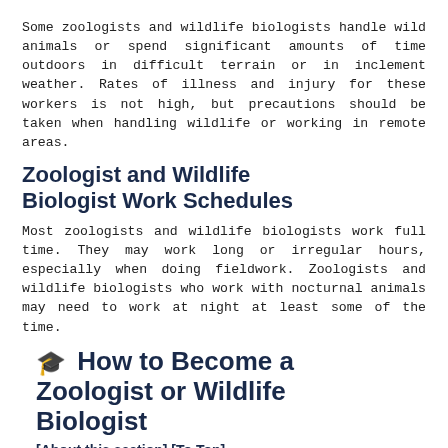Some zoologists and wildlife biologists handle wild animals or spend significant amounts of time outdoors in difficult terrain or in inclement weather. Rates of illness and injury for these workers is not high, but precautions should be taken when handling wildlife or working in remote areas.
Zoologist and Wildlife Biologist Work Schedules
Most zoologists and wildlife biologists work full time. They may work long or irregular hours, especially when doing fieldwork. Zoologists and wildlife biologists who work with nocturnal animals may need to work at night at least some of the time.
🎓 How to Become a Zoologist or Wildlife Biologist
[About this section] [To Top]